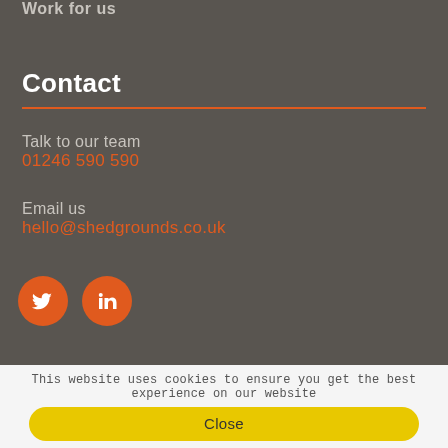Work for us
Contact
Talk to our team
01246 590 590
Email us
hello@shedgrounds.co.uk
[Figure (illustration): Two orange circular social media icons: Twitter bird icon and LinkedIn 'in' icon]
This website uses cookies to ensure you get the best experience on our website
Close